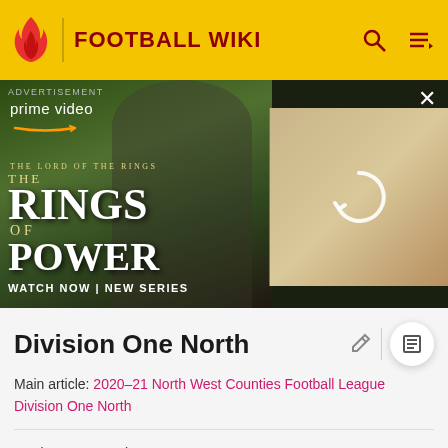FOOTBALL WIKI
[Figure (photo): Amazon Prime Video advertisement for 'The Lord of the Rings: The Rings of Power' showing two characters and a refresh overlay on the right panel. Text reads: ADVERTISEMENT, prime video, THE LORD OF THE RINGS, THE RINGS OF POWER, WATCH NOW | NEW SERIES]
Division One North
Main article: 2020–21 North West Counties Football League Division One North
North West Counties
Football League
Division One North